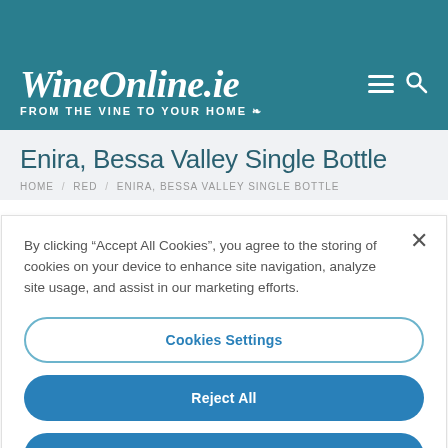[Figure (logo): WineOnline.ie logo with tagline 'FROM THE VINE TO YOUR HOME' on a teal background, with hamburger menu and search icons in the top right]
Enira, Bessa Valley Single Bottle
HOME / RED / ENIRA, BESSA VALLEY SINGLE BOTTLE
By clicking “Accept All Cookies”, you agree to the storing of cookies on your device to enhance site navigation, analyze site usage, and assist in our marketing efforts.
Cookies Settings
Reject All
Accept All Cookies